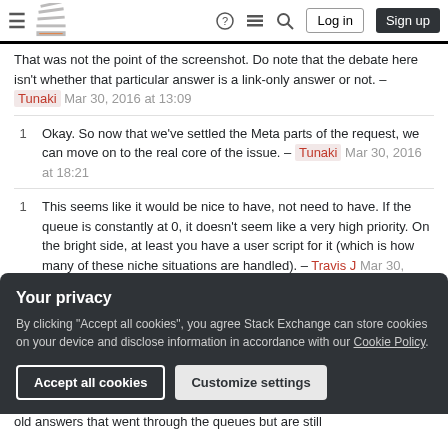Stack Exchange navigation bar with login and sign up buttons
That was not the point of the screenshot. Do note that the debate here isn't whether that particular answer is a link-only answer or not. – Tunaki Mar 30, 2016 at 13:09
1 Okay. So now that we've settled the Meta parts of the request, we can move on to the real core of the issue. – Tunaki Mar 30, 2016 at 18:21
1 This seems like it would be nice to have, not need to have. If the queue is constantly at 0, it doesn't seem like a very high priority. On the bright side, at least you have a user script for it (which is how many of these niche situations are handled). – Travis J Mar 30, 2016
Your privacy
By clicking "Accept all cookies", you agree Stack Exchange can store cookies on your device and disclose information in accordance with our Cookie Policy.
Accept all cookies  Customize settings
old answers that went through the queues but are still